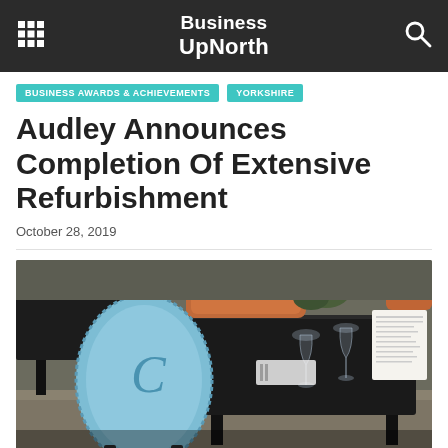Business UpNorth
BUSINESS AWARDS & ACHIEVEMENTS
YORKSHIRE
Audley Announces Completion Of Extensive Refurbishment
October 28, 2019
[Figure (photo): Interior dining room photo showing a blue upholstered chair with a decorative 'C' monogram, dark wooden tables set with glassware and napkins, and orange/coral decorative cushions in the background.]